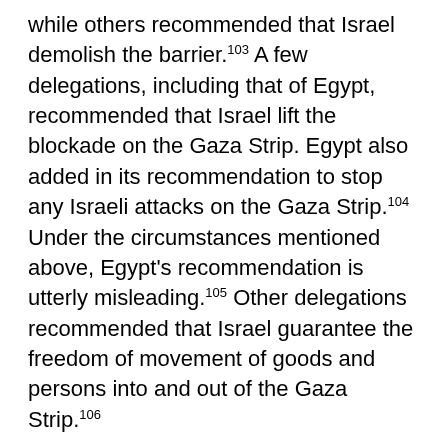while others recommended that Israel demolish the barrier.103 A few delegations, including that of Egypt, recommended that Israel lift the blockade on the Gaza Strip. Egypt also added in its recommendation to stop any Israeli attacks on the Gaza Strip.104 Under the circumstances mentioned above, Egypt's recommendation is utterly misleading.105 Other delegations recommended that Israel guarantee the freedom of movement of goods and persons into and out of the Gaza Strip.106
Palestinians' Rights. Recommendations included in this section refer to the right of the Palestinian people to self-determination.107 Whereas in the previous UPR, only Egypt and Sudan recommended that Israel respect the Palestinians' right to self-determination and the